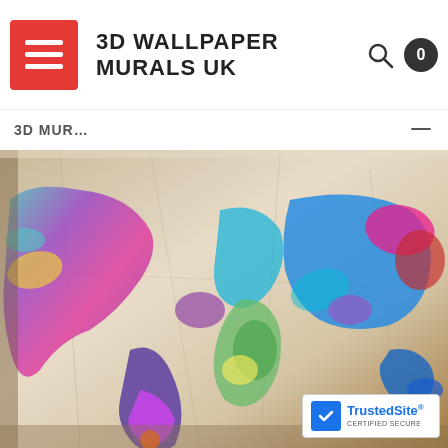3D WALLPAPER MURALS UK
[Figure (screenshot): E-commerce website screenshot showing a canvas print of a colorful watercolor world map on a vintage beige cracked background, displayed at an angle. The navigation bar at the top shows '3D WALLPAPER MURALS UK' with a red hamburger menu button, search icon, and cart icon showing 0 items.]
[Figure (logo): TrustedSite Certified Secure badge in the bottom right corner]